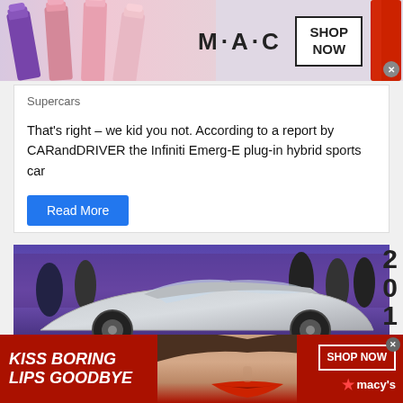[Figure (photo): MAC Cosmetics advertisement banner with lipsticks on left, MAC logo, SHOP NOW box, and red lipstick on right]
Supercars
That's right – we kid you not. According to a report by CARandDRIVER the Infiniti Emerg-E plug-in hybrid sports car
Read More
[Figure (photo): Car show photo with silver concept car on display, people in background, purple lighting]
[Figure (photo): Macy's advertisement banner: KISS BORING LIPS GOODBYE with model face and SHOP NOW button]